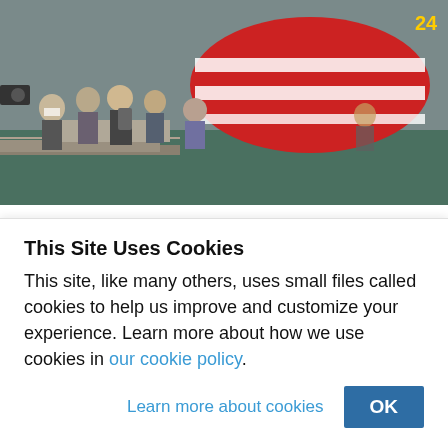[Figure (photo): Journalists and crew members photographed on a dock near a large red-and-white striped submarine being launched into green water. People wearing masks and backpacks are visible in the foreground.]
The Taigei and the other future submarines in its class are just one part of Japan's broader efforts to bolster its defenses in response to growing regional security concerns. Credit: CGTN.com.
After a decade of heavy R&D, Japan has officially launched...
This Site Uses Cookies
This site, like many others, uses small files called cookies to help us improve and customize your experience. Learn more about how we use cookies in our cookie policy.
Learn more about cookies   OK